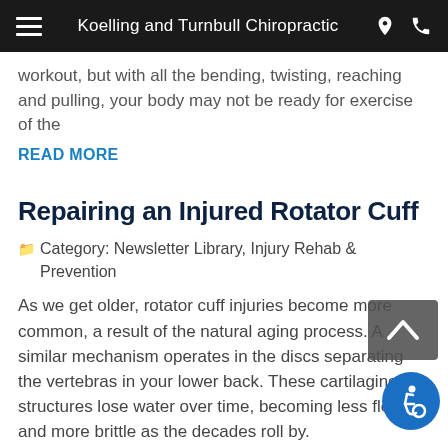Koelling and Turnbull Chiropractic
workout, but with all the bending, twisting, reaching and pulling, your body may not be ready for exercise of the
READ MORE
Repairing an Injured Rotator Cuff
Category: Newsletter Library, Injury Rehab & Prevention
As we get older, rotator cuff injuries become more common, a result of the natural aging process. A similar mechanism operates in the discs separating the vertebras in your lower back. These cartilaginous structures lose water over time, becoming less flexible and more brittle as the decades roll by.
READ MORE